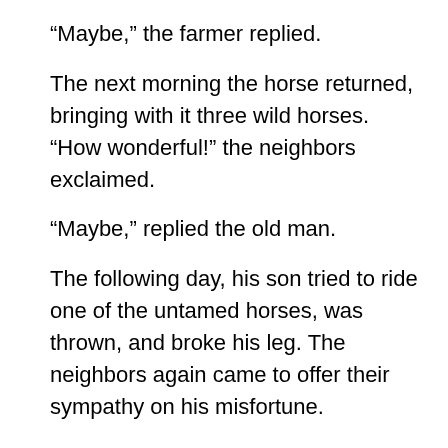“Maybe,” the farmer replied.
The next morning the horse returned, bringing with it three wild horses. “How wonderful!” the neighbors exclaimed.
“Maybe,” replied the old man.
The following day, his son tried to ride one of the untamed horses, was thrown, and broke his leg. The neighbors again came to offer their sympathy on his misfortune.
“Maybe,” answered the farmer.
The day after, military officials came to the village to draft young men into the army. Seeing that the son’s leg was broken, they passed him